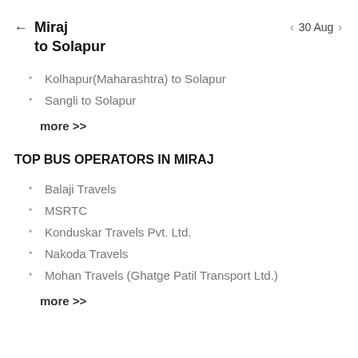Miraj to Solapur
30 Aug
Kolhapur(Maharashtra) to Solapur
Sangli to Solapur
more >>
TOP BUS OPERATORS IN MIRAJ
Balaji Travels
MSRTC
Konduskar Travels Pvt. Ltd.
Nakoda Travels
Mohan Travels (Ghatge Patil Transport Ltd.)
more >>